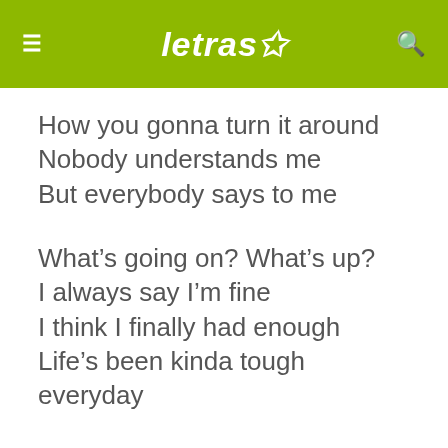letras
How you gonna turn it around
Nobody understands me
But everybody says to me
What's going on? What's up?
I always say I'm fine
I think I finally had enough
Life's been kinda tough everyday
I'm feeling like I'm fading
Everytime I say hello
In this sad scenery
I say to you, hello